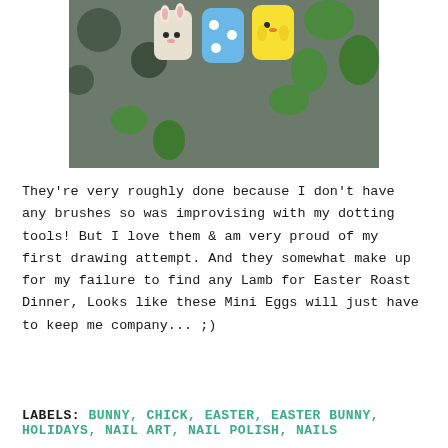[Figure (photo): Close-up photo of painted fingernails with Easter-themed nail art, including a bunny, chick, and polka dot egg design on a grey and green patterned fabric background.]
They're very roughly done because I don't have any brushes so was improvising with my dotting tools! But I love them & am very proud of my first drawing attempt. And they somewhat make up for my failure to find any Lamb for Easter Roast Dinner, Looks like these Mini Eggs will just have to keep me company... ;)
LABELS: BUNNY, CHICK, EASTER, EASTER BUNNY, HOLIDAYS, NAIL ART, NAIL POLISH, NAILS